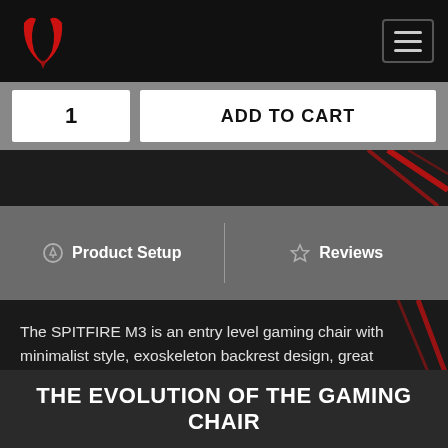[Figure (logo): Red bull horns/flame logo on dark background with hamburger menu icon top right]
1
ADD TO CART
Product Setup
Reviews
The SPITFIRE M3 is an entry level gaming chair with minimalist style, exoskeleton backrest design, great comfort and environment-friendly materials.
THE EVOLUTION OF THE GAMING CHAIR